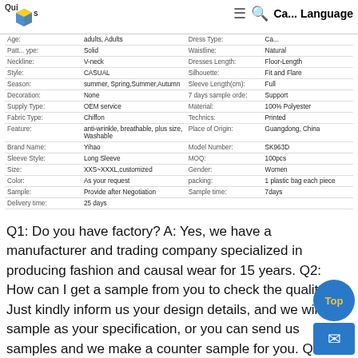QuickFind | Language
| Attribute | Value | Attribute | Value |
| --- | --- | --- | --- |
| Age: | adults, Adults | Dress Type: | Ca... |
| Patt... ype: | Solid | Waistline: | Natural |
| Neckline: | V-neck | Dresses Length: | Floor-Length |
| Style: | CASUAL | Silhouette: | Fit and Flare |
| Season: | summer, Spring,Summer,Autumn | Sleeve Length(cm): | Full |
| Decoration: | None | 7 days sample orde: | Support |
| Supply Type: | OEM service | Material: | 100% Polyester |
| Fabric Type: | Chiffon | Technics: | Printed |
| Feature: | anti-wrinkle, breathable, plus size, Washable | Place of Origin: | Guangdong, China |
| Brand Name: | Yihao | Model Number: | SK963D |
| Sleeve Style: | Long Sleeve | MOQ: | 100pcs |
| Size: | XXS~XXXL,customized | Gender: | Women |
| Color: | As your request | packing: | 1 plastic bag each piece |
| Sample: | Provide after Negotiation | Sample time: | 7days |
| Delivery time: | 25 days |  |  |
Q1: Do you have factory? A: Yes, we have a manufacturer and trading company specialized in producing fashion and causal wear for 15 years. Q2: How can I get a sample from you to check the quality? A: Just kindly inform us your design details, and we will offer sample as your specification, or you can send us samples and we make a counter sample for you. Q3: What about your delivery time? ...e receive our goods on time? A: Usually 10-30 days after ord... confirmed. Exact delivery time depends on order quality quanti...